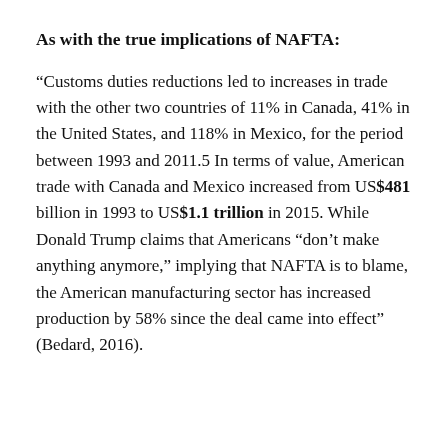As with the true implications of NAFTA:
“Customs duties reductions led to increases in trade with the other two countries of 11% in Canada, 41% in the United States, and 118% in Mexico, for the period between 1993 and 2011.5 In terms of value, American trade with Canada and Mexico increased from US$481 billion in 1993 to US$1.1 trillion in 2015. While Donald Trump claims that Americans “don’t make anything anymore,” implying that NAFTA is to blame, the American manufacturing sector has increased production by 58% since the deal came into effect” (Bedard, 2016).